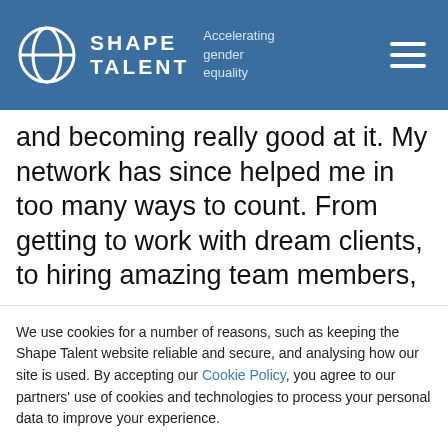SHAPE TALENT — Accelerating gender equality
and becoming really good at it. My network has since helped me in too many ways to count. From getting to work with dream clients, to hiring amazing team members,
We use cookies for a number of reasons, such as keeping the Shape Talent website reliable and secure, and analysing how our site is used. By accepting our Cookie Policy, you agree to our partners' use of cookies and technologies to process your personal data to improve your experience.
Accept
Cookie Settings